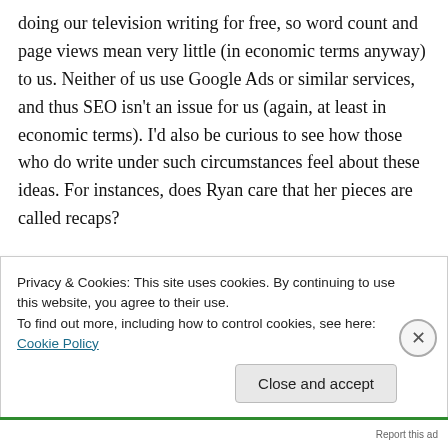doing our television writing for free, so word count and page views mean very little (in economic terms anyway) to us. Neither of us use Google Ads or similar services, and thus SEO isn't an issue for us (again, at least in economic terms). I'd also be curious to see how those who do write under such circumstances feel about these ideas. For instances, does Ryan care that her pieces are called recaps?

As you point out in the bullets, we have a fairly
Privacy & Cookies: This site uses cookies. By continuing to use this website, you agree to their use.
To find out more, including how to control cookies, see here: Cookie Policy